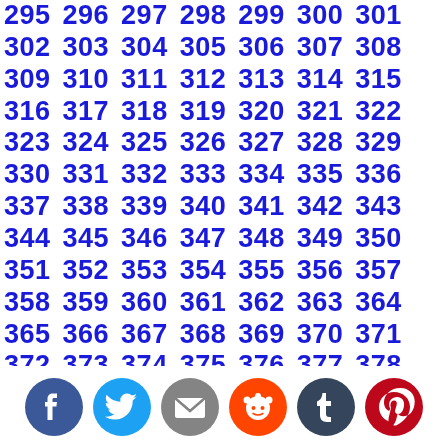295 296 297 298 299 300 301 302 303 304 305 306 307 308 309 310 311 312 313 314 315 316 317 318 319 320 321 322 323 324 325 326 327 328 329 330 331 332 333 334 335 336 337 338 339 340 341 342 343 344 345 346 347 348 349 350 351 352 353 354 355 356 357 358 359 360 361 362 363 364 365 366 367 368 369 370 371 372 373 374 375 376 377 378 379 380 381 382 383 384 385 386 387 388 389 390 391 392 393 394 395 396 397 398 399 400 401 402 403 404 405 406 407 408 409 410 411 412 413 414 415 416 417 418 419 420 421 422 423 424 425 426 427 428 429 430 431 432 433 434 435 436 437 438 439 440 441 442 443 444 445 446 447 448 449 450 451 452 453 454 455 456 457 458 459 460 461 462 463 464 465 466 467 468 469 470 471 472 473 474 475 476 477 478 479 480 481 482 483 484 485 486 487 488 489 490 491 492 493 494 495 496 497 498 499 500 501 502 503 504 505 506 507 508 509 510 511 512 513 514 515
[Figure (infographic): Social media share icons: Facebook (blue circle), Twitter (teal circle), Email (grey circle), Reddit (orange circle), Tumblr (dark navy circle), Pinterest (red circle)]